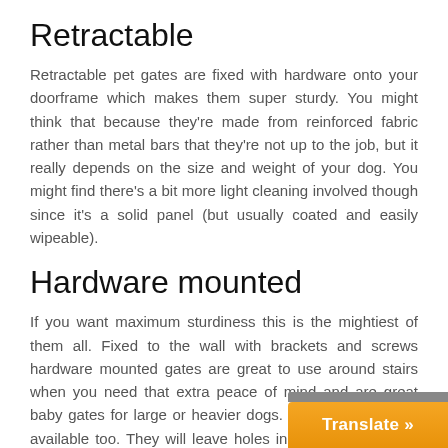Retractable
Retractable pet gates are fixed with hardware onto your doorframe which makes them super sturdy. You might think that because they're made from reinforced fabric rather than metal bars that they're not up to the job, but it really depends on the size and weight of your dog. You might find there's a bit more light cleaning involved though since it's a solid panel (but usually coated and easily wipeable).
Hardware mounted
If you want maximum sturdiness this is the mightiest of them all. Fixed to the wall with brackets and screws hardware mounted gates are great to use around stairs when you need that extra peace of mind and are great baby gates for large or heavier dogs. Extra tall gates are available too. They will leave holes in your walls though, worth bearing in mind if you don't want to